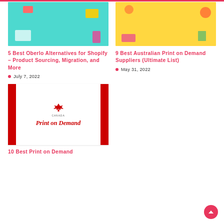[Figure (illustration): Teal/cyan background illustration with e-commerce/product sourcing theme showing packages and devices]
[Figure (illustration): Yellow background illustration with print on demand suppliers theme showing people working]
5 Best Oberlo Alternatives for Shopify – Product Sourcing, Migration, and More
July 7, 2022
9 Best Australian Print on Demand Suppliers (Ultimate List)
May 31, 2022
[Figure (illustration): Canada Print on Demand book/guide cover with red maple leaf and red side borders on white background]
10 Best Print on Demand